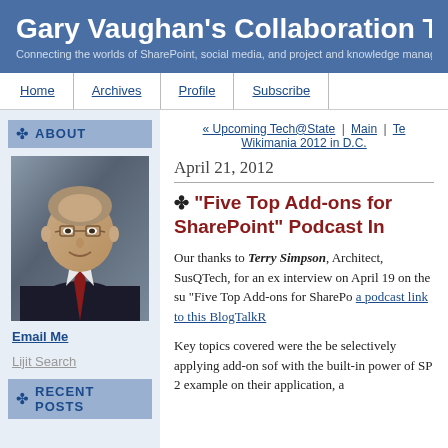Gary Vaughan's Collaboration T
Connecting the worlds of SharePoint, social media, and project and knowledge manage
Home | Archives | Profile | Subscribe
ABOUT
[Figure (photo): Profile photo of a man in a dark suit with a red tie, wearing glasses, smiling.]
Email Me
Lijit Search
RECENT POSTS
« Upcoming Tech@State | Main | Te Wikimania 2012 in D.C.
April 21, 2012
"Five Top Add-ons for SharePoint" Podcast In
Our thanks to Terry Simpson, Architect, SusQTech, for an ex interview on April 19 on the su "Five Top Add-ons for SharePo a podcast link to this BlogTalkR
Key topics covered were the be selectively applying add-on sof with the built-in power of SP 2 example on their application, a